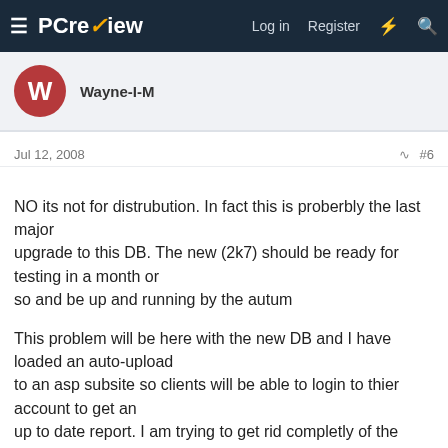PCreview — Log in  Register
Wayne-I-M
Jul 12, 2008  #6
NO its not for distrubution. In fact this is proberbly the last major
upgrade to this DB. The new (2k7) should be ready for testing in a month or
so and be up and running by the autum

This problem will be here with the new DB and I have loaded an auto-upload
to an asp subsite so clients will be able to login to thier account to get an
up to date report. I am trying to get rid completly of the mailed reports

Thanks again